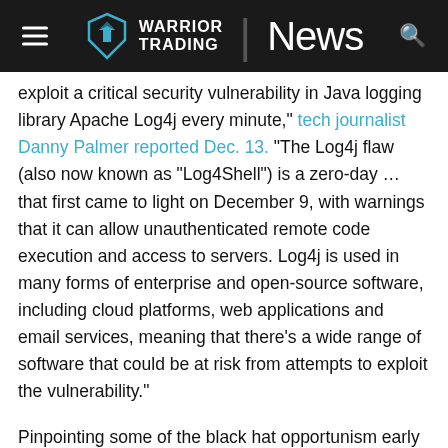Warrior Trading News
exploit a critical security vulnerability in Java logging library Apache Log4j every minute," tech journalist Danny Palmer reported Dec. 13. "The Log4j flaw (also now known as “Log4Shell”) is a zero-day ... that first came to light on December 9, with warnings that it can allow unauthenticated remote code execution and access to servers. Log4j is used in many forms of enterprise and open-source software, including cloud platforms, web applications and email services, meaning that there’s a wide range of software that could be at risk from attempts to exploit the vulnerability."
Pinpointing some of the black hat opportunism early on in the game, Palmer (and others) warned of greater issues to come.
“Cybersecurity researchers at Sophos have warned that